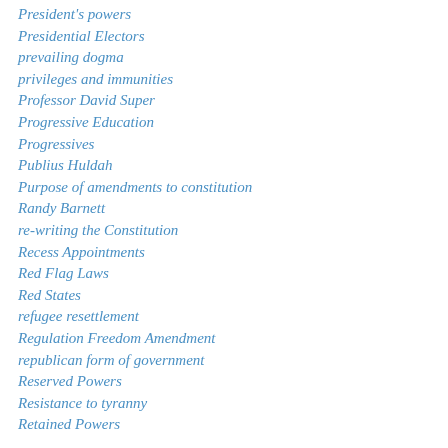President's powers
Presidential Electors
prevailing dogma
privileges and immunities
Professor David Super
Progressive Education
Progressives
Publius Huldah
Purpose of amendments to constitution
Randy Barnett
re-writing the Constitution
Recess Appointments
Red Flag Laws
Red States
refugee resettlement
Regulation Freedom Amendment
republican form of government
Reserved Powers
Resistance to tyranny
Retained Powers